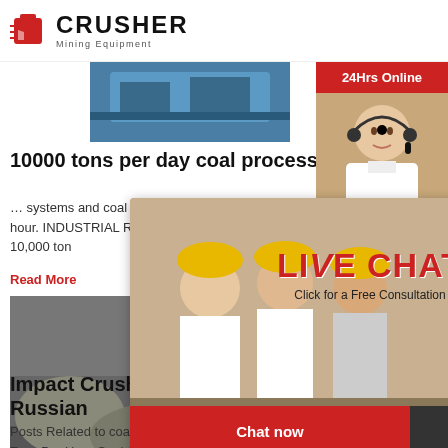CRUSHER Mining Equipment
[Figure (photo): Blue mining/industrial equipment container]
10000 tons per day coal processing plant
... systems and coal processing ... per hour to 4,500 tons per hour. INDUSTRIAL RESOURCES recently comple... 10,000 ton
Read More
[Figure (photo): Mining quarry scene with heavy machinery]
[Figure (photo): Live chat popup with workers and operator. Title: LIVE CHAT. Subtitle: Click for a Free Consultation. Buttons: Chat now, Chat later]
Impact Crusher For Tons Of Coal Russian
Posts Related to coal crusher machine for 1000 Tons Per Hour Coal Crusher Supply 50 ... for the processing 3000 tonnes per hour of coal.
[Figure (infographic): Right sidebar: 24Hrs Online label, customer service agent photo, Need questions & suggestion?, Chat Now button, Enquiry, limingjlmofen@sina.com]